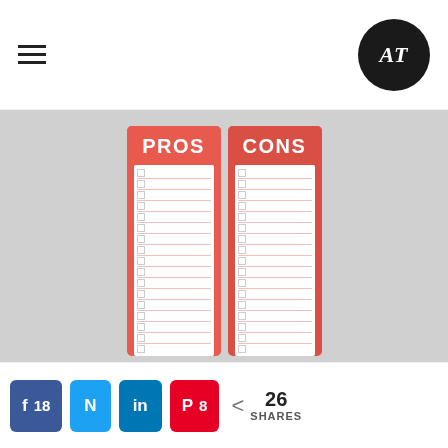≡  AT logo
[Figure (photo): A salmon/coral-colored pros and cons checklist notepad with two columns labeled PROS and CONS, each with checkbox rows and lined spaces for writing, photographed on a light grey background.]
18  (facebook share)  (twitter share)  (linkedin share)  8 (pinterest share)  < 26 SHARES